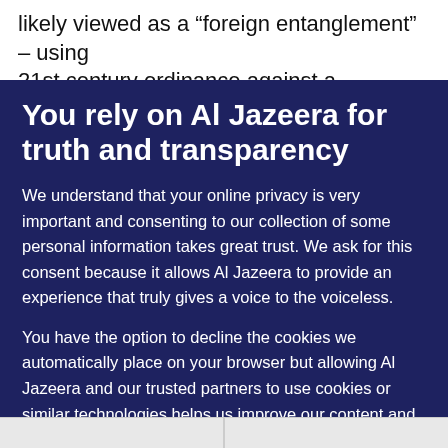likely viewed as a “foreign entanglement” – using 21st century ordinance against a sociopath with a
You rely on Al Jazeera for truth and transparency
We understand that your online privacy is very important and consenting to our collection of some personal information takes great trust. We ask for this consent because it allows Al Jazeera to provide an experience that truly gives a voice to the voiceless.
You have the option to decline the cookies we automatically place on your browser but allowing Al Jazeera and our trusted partners to use cookies or similar technologies helps us improve our content and offerings to you. You can change your privacy preferences at any time by selecting ‘Cookie preferences’ at the bottom of your screen. To learn more, please view our Cookie Policy.